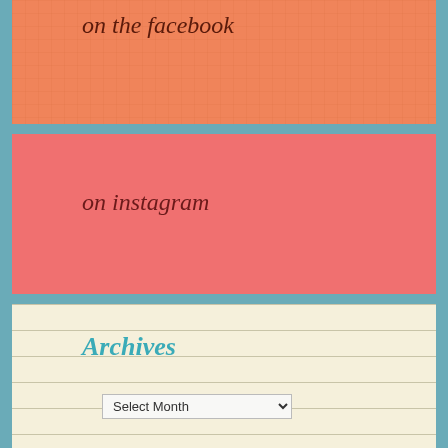on the facebook
[Figure (other): Orange grid-paper background block for 'on the facebook' social media link widget]
[Figure (other): Solid salmon/coral background block for 'on instagram' social media link widget]
on instagram
Archives
Select Month